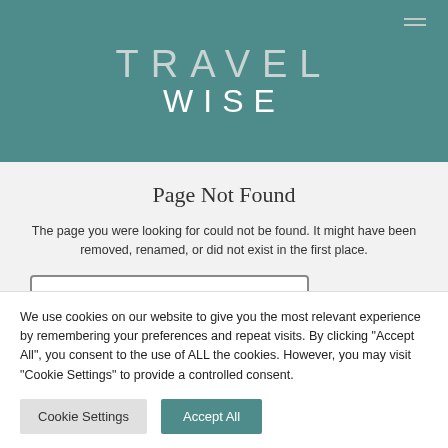TRAVEL WISE
Page Not Found
The page you were looking for could not be found. It might have been removed, renamed, or did not exist in the first place.
We use cookies on our website to give you the most relevant experience by remembering your preferences and repeat visits. By clicking "Accept All", you consent to the use of ALL the cookies. However, you may visit "Cookie Settings" to provide a controlled consent.